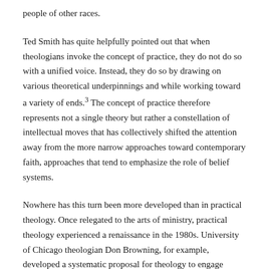people of other races.
Ted Smith has quite helpfully pointed out that when theologians invoke the concept of practice, they do not do so with a unified voice. Instead, they do so by drawing on various theoretical underpinnings and while working toward a variety of ends.3 The concept of practice therefore represents not a single theory but rather a constellation of intellectual moves that has collectively shifted the attention away from the more narrow approaches toward contemporary faith, approaches that tend to emphasize the role of belief systems.
Nowhere has this turn been more developed than in practical theology. Once relegated to the arts of ministry, practical theology experienced a renaissance in the 1980s. University of Chicago theologian Don Browning, for example, developed a systematic proposal for theology to engage social analysis using the kind of thick descriptions of cultural situations that were common in the social sciences.4 Other theologians challenged the long-held epistemological arrangements within theological education;5 these arrangements prioritized professional clergy (at the expense of the laity) and imagined a strong